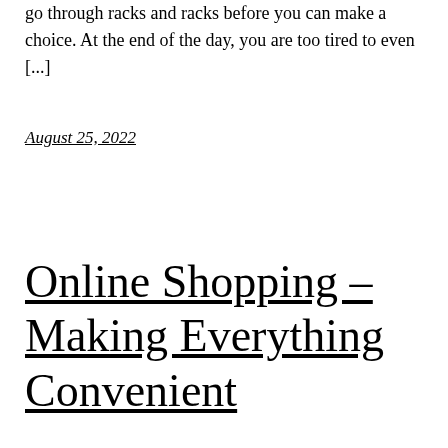go through racks and racks before you can make a choice. At the end of the day, you are too tired to even [...]
August 25, 2022
Online Shopping – Making Everything Convenient